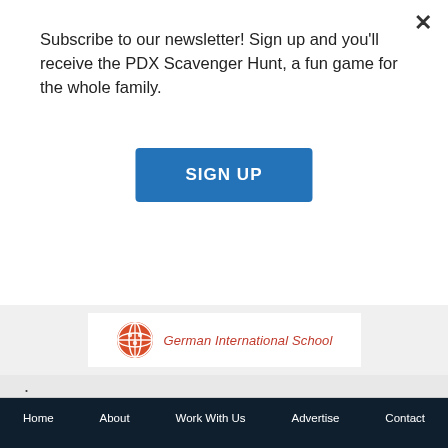Subscribe to our newsletter! Sign up and you'll receive the PDX Scavenger Hunt, a fun game for the whole family.
SIGN UP
[Figure (logo): German International School logo — orange globe icon with 'German International School' text]
.
Home  About  Work With Us  Advertise  Contact
Subscribe
email address